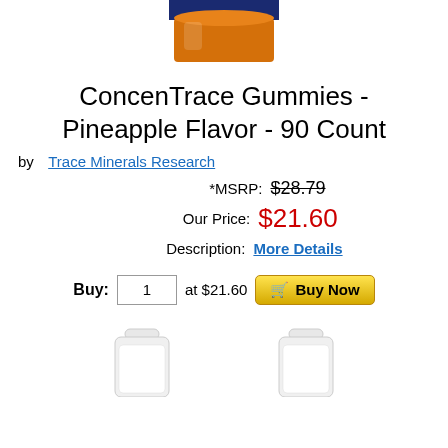[Figure (photo): Top portion of a product bottle with blue and orange lid, cropped at top of page]
ConcenTrace Gummies - Pineapple Flavor - 90 Count
by  Trace Minerals Research
*MSRP:  $28.79
Our Price:  $21.60
Description:  More Details
Buy:  1  at $21.60  Buy Now
[Figure (photo): Two supplement bottles shown at bottom of page, white caps, partially cropped]